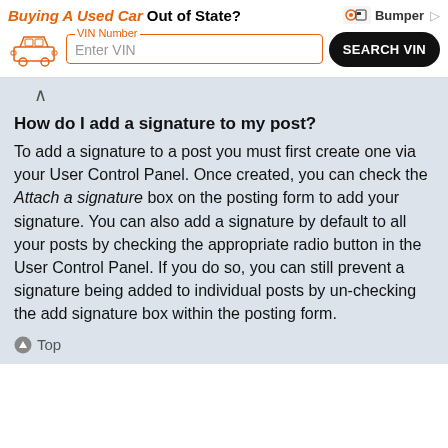[Figure (screenshot): Advertisement banner: 'Buying A Used Car Out of State?' with Bumper logo, VIN Number input field, and SEARCH VIN button]
How do I add a signature to my post?
To add a signature to a post you must first create one via your User Control Panel. Once created, you can check the Attach a signature box on the posting form to add your signature. You can also add a signature by default to all your posts by checking the appropriate radio button in the User Control Panel. If you do so, you can still prevent a signature being added to individual posts by un-checking the add signature box within the posting form.
⬆ Top
How do I create a poll?
When posting a new topic or editing the first post of a topic, click the "Poll creation" tab below the main posting form; if you cannot see this, you do not have appropriate permissions to create polls. Enter a title and at least two options in the appropriate fields, making sure each option is on a separate line in the textarea. You can also set the number of options users may select during voting